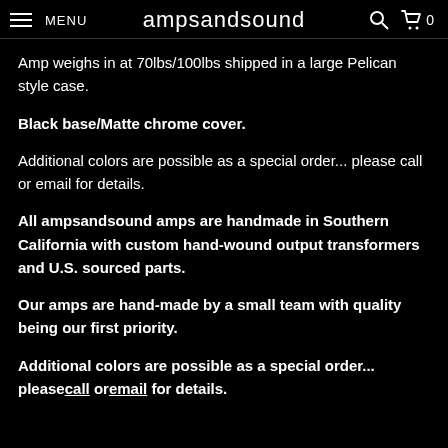MENU | ampsandsound | search | cart 0
Amp weighs in at 70lbs/100lbs shipped in a large Pelican style case.
Black base/Matte chrome cover.
Additional colors are possible as a special order... please call or email for details.
All ampsandsound amps are handmade in Southern California with custom hand-wound output transformers and U.S. sourced parts.
Our amps are hand-made by a small team with quality being our first priority.
Additional colors are possible as a special order... please call or email for details.